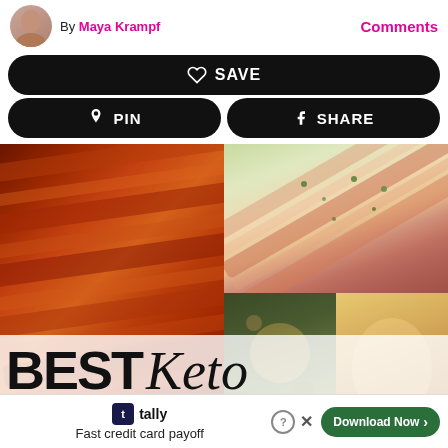By Maya Krampf   Comments
SAVE
PIN   SHARE
[Figure (photo): Collage of keto meats: crispy bacon strips on the left, sliced steak with herb garnish on the top right, and other meat dishes on the bottom right, with overlaid text reading BEST Keto MEATS LIST]
tally  Fast credit card payoff   Download Now